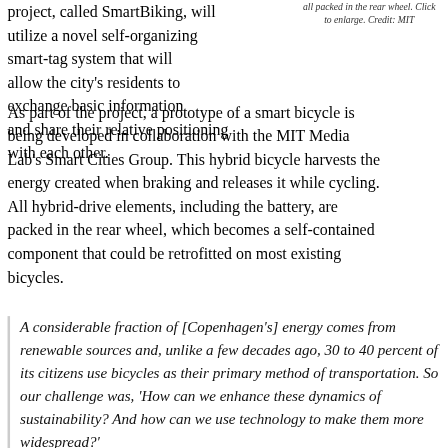project, called SmartBiking, will utilize a novel self-organizing smart-tag system that will allow the city's residents to exchange basic information and share their relative positioning with each other.
all packed in the rear wheel. Click to enlarge. Credit: MIT
As part of the project, a prototype of a smart bicycle is being developed in collaboration with the MIT Media Lab's Smart Cities Group. This hybrid bicycle harvests the energy created when braking and releases it while cycling. All hybrid-drive elements, including the battery, are packed in the rear wheel, which becomes a self-contained component that could be retrofitted on most existing bicycles.
A considerable fraction of [Copenhagen's] energy comes from renewable sources and, unlike a few decades ago, 30 to 40 percent of its citizens use bicycles as their primary method of transportation. So our challenge was, 'How can we enhance these dynamics of sustainability? And how can we use technology to make them more widespread?'
—Carlo Ratti, Director of MIT's SENSEable City